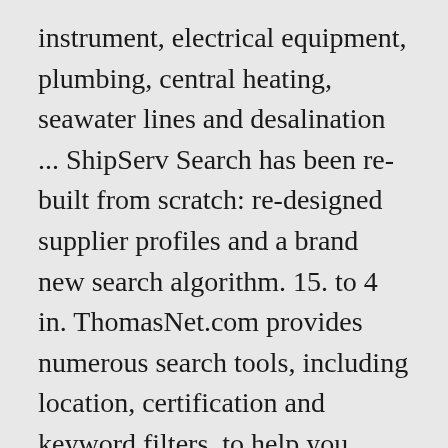instrument, electrical equipment, plumbing, central heating, seawater lines and desalination ... ShipServ Search has been re-built from scratch: re-designed supplier profiles and a brand new search algorithm. 15. to 4 in. ThomasNet.com provides numerous search tools, including location, certification and keyword filters, to help you refine your results. We have an unmatched inventory - the most diverse and customer-specific inventory in the Southeast. Brass About offer both walk around and live show, take requests and deliver a fresh, modern approach to the traditional brass band. Our fast turnaround service sets us apart from our competition, as does our quality and